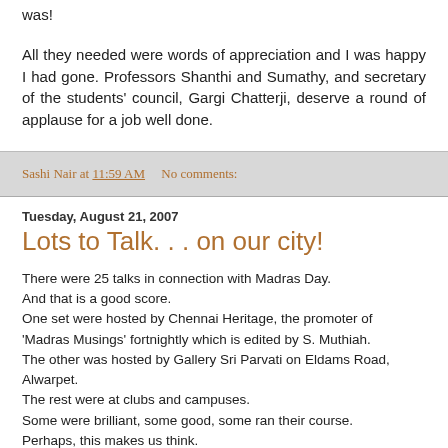was!
All they needed were words of appreciation and I was happy I had gone. Professors Shanthi and Sumathy, and secretary of the students' council, Gargi Chatterji, deserve a round of applause for a job well done.
Sashi Nair at 11:59 AM   No comments:
Tuesday, August 21, 2007
Lots to Talk. . . on our city!
There were 25 talks in connection with Madras Day.
And that is a good score.
One set were hosted by Chennai Heritage, the promoter of 'Madras Musings' fortnightly which is edited by S. Muthiah.
The other was hosted by Gallery Sri Parvati on Eldams Road, Alwarpet.
The rest were at clubs and campuses.
Some were brilliant, some good, some ran their course.
Perhaps, this makes us think.